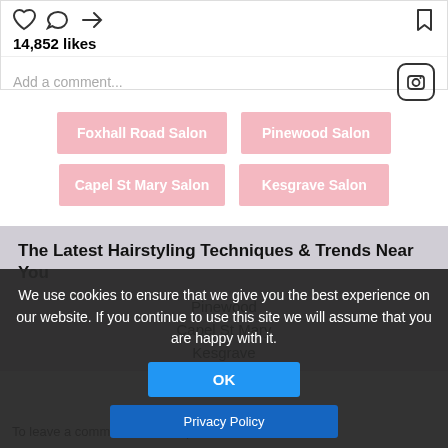14,852 likes
Add a comment...
Foxhall Road Salon
Pinewood Salon
Capel St Mary Salon
Kesgrave Salon
The Latest Hairstyling Techniques & Trends Near You
Pinewood
Capel St Mary
Kesgrave
We use cookies to ensure that we give you the best experience on our website. If you continue to use this site we will assume that you are happy with it.
OK
Privacy Policy
To leave a comment or ask a question - click here